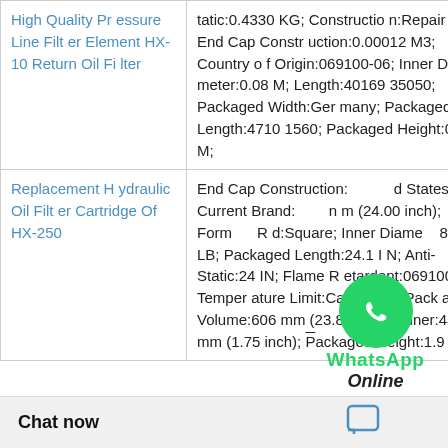| Product | Description |
| --- | --- |
| High Quality Pressure Line Filter Element HX-10 Return Oil Filter | tatic:0.4356 KG; Construction:Repair Set; End Cap Construction:0.00012 M3; Country of Origin:069100-06; Inner Diameter:0.08 M; Length:40169 35050; Packaged Width:Germany; Packaged Length:4710 1560; Packaged Height:0.08 M; |
| Replacement Hydraulic Oil Filter Cartridge Of HX-250 | End Cap Construction: States; Current Brand: m (24.00 inch); Form d:Square; Inner Diam 5 LB; Packaged Length:24.1 IN; Anti-Static:24 IN; Flame Retardant:069100-06; Temperature Limit:Cardboard; Packaged Volume:606 mm (23.87 inch); Liner:44 mm (1.75 inch); Packaged Height:1.9 IN |
[Figure (other): WhatsApp Online overlay with green circle phone icon, 'WhatsApp' label in green bold text, 'Online' label in bold italic dark text]
Chat now